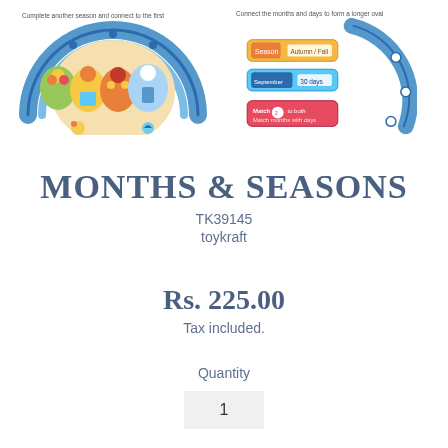Complete another season and connect to the first
[Figure (illustration): Semi-circular puzzle with colorful seasonal scenes and small decorative figures below]
Connect the months and days to form a longer oval
[Figure (illustration): Curved puzzle pieces showing months and days forming an oval, with smaller puzzle cards for matching months with days]
MONTHS & SEASONS
TK39145
toykraft
Rs. 225.00
Tax included.
Quantity
1